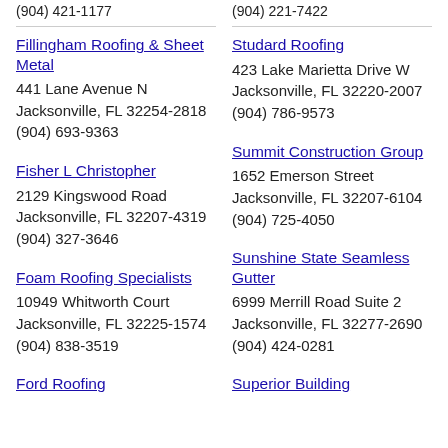(904) 421-1177
(904) 221-7422
Fillingham Roofing & Sheet Metal
441 Lane Avenue N
Jacksonville, FL 32254-2818
(904) 693-9363
Studard Roofing
423 Lake Marietta Drive W
Jacksonville, FL 32220-2007
(904) 786-9573
Fisher L Christopher
2129 Kingswood Road
Jacksonville, FL 32207-4319
(904) 327-3646
Summit Construction Group
1652 Emerson Street
Jacksonville, FL 32207-6104
(904) 725-4050
Foam Roofing Specialists
10949 Whitworth Court
Jacksonville, FL 32225-1574
(904) 838-3519
Sunshine State Seamless Gutter
6999 Merrill Road Suite 2
Jacksonville, FL 32277-2690
(904) 424-0281
Ford Roofing
Superior Building